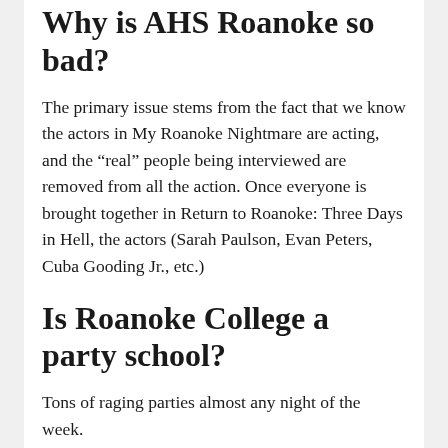Why is AHS Roanoke so bad?
The primary issue stems from the fact that we know the actors in My Roanoke Nightmare are acting, and the “real” people being interviewed are removed from all the action. Once everyone is brought together in Return to Roanoke: Three Days in Hell, the actors (Sarah Paulson, Evan Peters, Cuba Gooding Jr., etc.)
Is Roanoke College a party school?
Tons of raging parties almost any night of the week.
Is Roanoke College hard to get into?